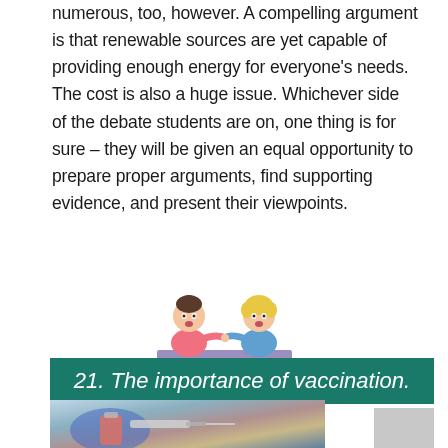numerous, too, however. A compelling argument is that renewable sources are yet capable of providing enough energy for everyone's needs. The cost is also a huge issue. Whichever side of the debate students are on, one thing is for sure – they will be given an equal opportunity to prepare proper arguments, find supporting evidence, and present their viewpoints.
[Figure (illustration): Cartoon illustration of two children sitting at a desk facing each other, appearing to debate. One child is wearing pink, the other blue, with a purple/lavender desk surface.]
21. The importance of vaccination.
[Figure (photo): Photo of a gloved hand (blue medical glove) holding a syringe with a vaccine vial, close-up shot.]